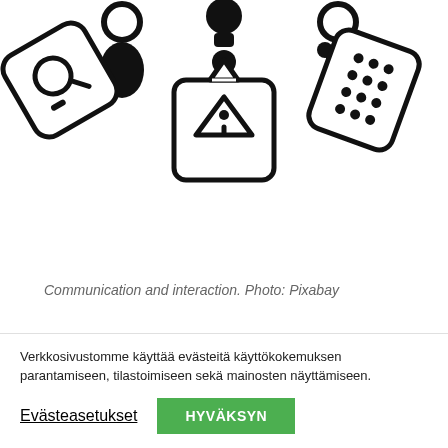[Figure (illustration): Three icon figures representing communication and interaction: a person with a magnifying glass speech bubble on the left, a person with an info/triangle speech bubble in the center, and a person with a grid/phone speech bubble on the right. Black and white line art style.]
Communication and interaction. Photo: Pixabay
The cornerstone of professionalism is neutrality. The interpreter's task is to enable the transmission of others' emotions while keeping their own feelings separate from the situation (Koskinen K, 2018). For such acrobatics to
Verkkosivustomme käyttää evästeitä käyttökokemuksen parantamiseen, tilastoimiseen sekä mainosten näyttämiseen.
Evästeasetukset
HYVÄKSYN